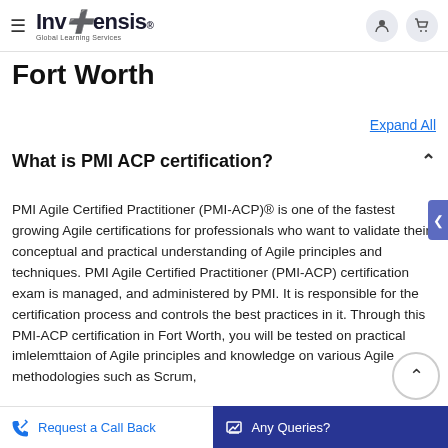Invensis Global Learning Services — navigation bar
Fort Worth
Expand All
What is PMI ACP certification?
PMI Agile Certified Practitioner (PMI-ACP)® is one of the fastest growing Agile certifications for professionals who want to validate their conceptual and practical understanding of Agile principles and techniques. PMI Agile Certified Practitioner (PMI-ACP) certification exam is managed, and administered by PMI. It is responsible for the certification process and controls the best practices in it. Through this PMI-ACP certification in Fort Worth, you will be tested on practical imlelemttaion of Agile principles and knowledge on various Agile methodologies such as Scrum,
Request a Call Back | Any Queries?